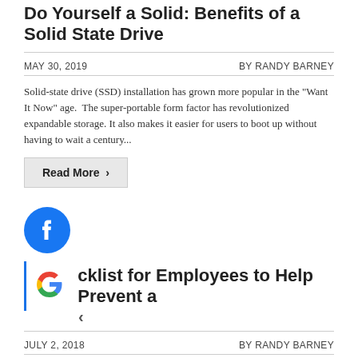Do Yourself a Solid: Benefits of a Solid State Drive
MAY 30, 2019   BY RANDY BARNEY
Solid-state drive (SSD) installation has grown more popular in the "Want It Now" age.  The super-portable form factor has revolutionized expandable storage. It also makes it easier for users to boot up without having to wait a century...
Read More >
[Figure (logo): Facebook logo icon - blue circle with white f]
[Figure (logo): Google logo icon - colourful G letter]
cklist for Employees to Help Prevent a <
JULY 2, 2018   BY RANDY BARNEY
Phishing scams are constantly evolving to adopt new forms and techniques.  Businesses of all sizes need to take steps to protect themselves.  The average 10,000-employee company spends $3.7 million a year dealing with phishing